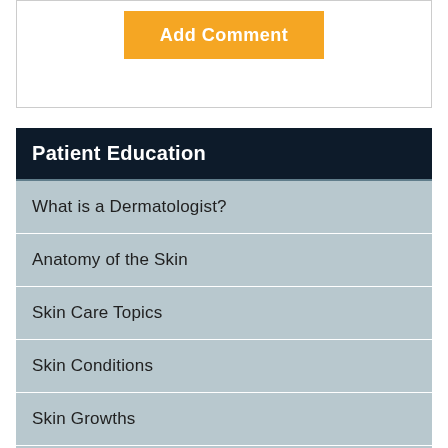[Figure (screenshot): White box with an orange 'Add Comment' button centered inside it]
Patient Education
What is a Dermatologist?
Anatomy of the Skin
Skin Care Topics
Skin Conditions
Skin Growths
Skin Infections